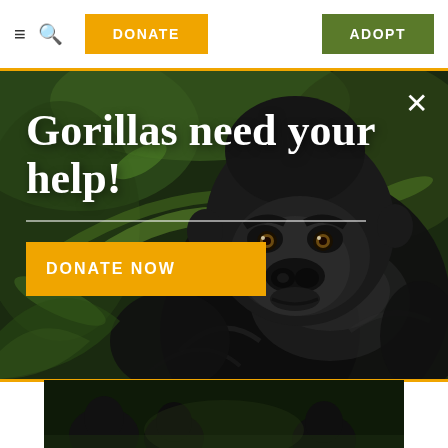≡  🔍  DONATE  ADOPT
[Figure (photo): Close-up photograph of a mountain gorilla face surrounded by green jungle foliage, with text overlay 'Gorillas need your help!' and a DONATE NOW button]
[Figure (photo): Dark photograph of gorillas in a group, partially visible at bottom of page]